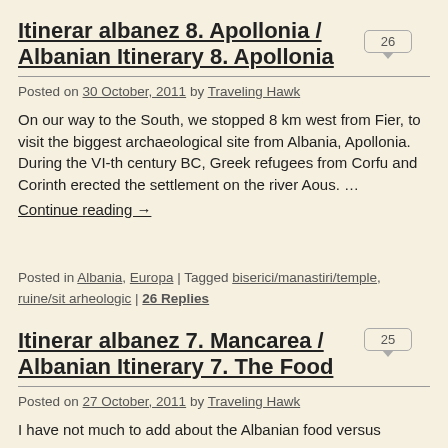Itinerar albanez 8. Apollonia / Albanian Itinerary 8. Apollonia
Posted on 30 October, 2011 by Traveling Hawk
On our way to the South, we stopped 8 km west from Fier, to visit the biggest archaeological site from Albania, Apollonia. During the VI-th century BC, Greek refugees from Corfu and Corinth erected the settlement on the river Aous. …
Continue reading →
Posted in Albania, Europa | Tagged biserici/manastiri/temple, ruine/sit arheologic | 26 Replies
Itinerar albanez 7. Mancarea / Albanian Itinerary 7. The Food
Posted on 27 October, 2011 by Traveling Hawk
I have not much to add about the Albanian food versus